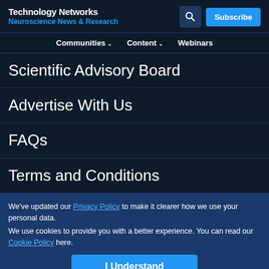Technology Networks
Neuroscience News & Research
Communities  Content  Webinars
Scientific Advisory Board
Advertise With Us
FAQs
Terms and Conditions
We've updated our Privacy Policy to make it clearer how we use your personal data.
We use cookies to provide you with a better experience. You can read our Cookie Policy here.
I Understand
©2022 Technology Networks. All rights reserved.
Part of the LabX Media Group
Advertisement
[Figure (photo): Somalogic advertisement banner: 'Pioneer with 7,000 proteins' with somalogic logo]